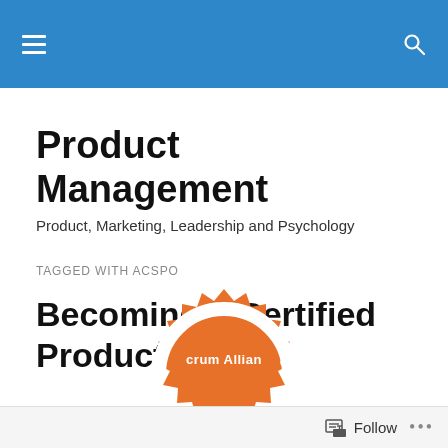Product Management
Product Management
Product, Marketing, Leadership and Psychology
TAGGED WITH ACSPO
Becoming a Certified Product Owner
[Figure (logo): Scrum Alliance badge/seal in orange with white text reading 'Scrum Alliance']